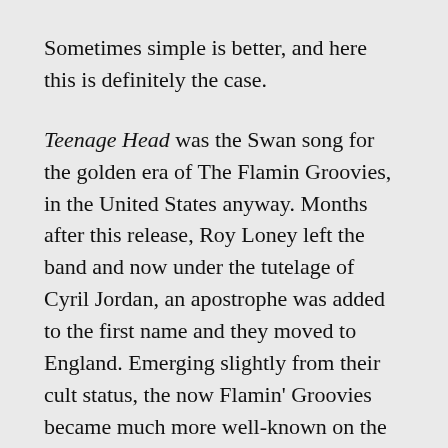Sometimes simple is better, and here this is definitely the case.
Teenage Head was the Swan song for the golden era of The Flamin Groovies, in the United States anyway. Months after this release, Roy Loney left the band and now under the tutelage of Cyril Jordan, an apostrophe was added to the first name and they moved to England. Emerging slightly from their cult status, the now Flamin' Groovies became much more well-known on the more musically knowledgeable side of the pond and hooked up with Dave Edmunds who produced, Shake Some Action, their best album since Teenage Head.
At the end of the day, the Flamin' Groovies have gone the way of many bands. They started off hot, created some fantastic music, but lost the original mojo to